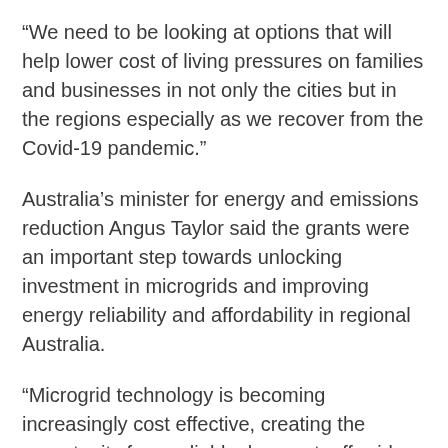“We need to be looking at options that will help lower cost of living pressures on families and businesses in not only the cities but in the regions especially as we recover from the Covid-19 pandemic.”
Australia’s minister for energy and emissions reduction Angus Taylor said the grants were an important step towards unlocking investment in microgrids and improving energy reliability and affordability in regional Australia.
“Microgrid technology is becoming increasingly cost effective, creating the opportunity for a reliable, low cost, off-grid supply to our regional communities and industries,” he said.